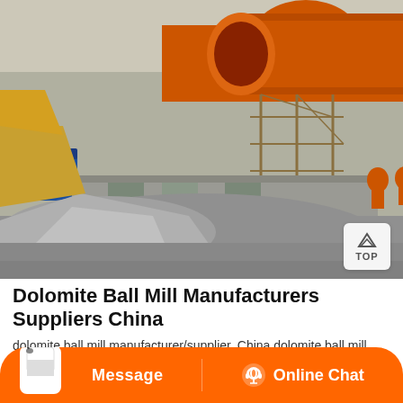[Figure (photo): Industrial ball mill installation site showing a large orange cylindrical ball mill mounted on scaffolding with concrete foundations, workers visible, and ground covered with gray processed material/dolomite powder]
Dolomite Ball Mill Manufacturers Suppliers China
dolomite ball mill manufacturer/supplier, China dolomite ball mill
[Figure (other): Bottom orange banner with Message button on left and Online Chat button with headset icon on right; customer service agent image on the bottom left]